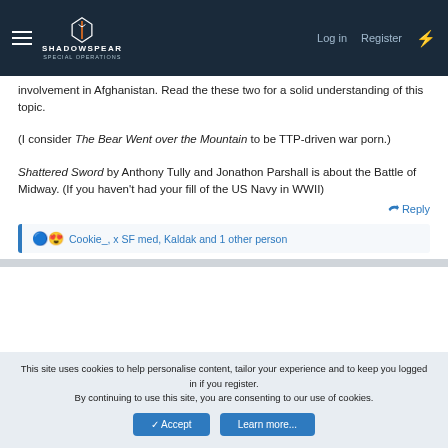ShadowSpear Special Operations — Log in | Register
involvement in Afghanistan. Read the these two for a solid understanding of this topic.
(I consider The Bear Went over the Mountain to be TTP-driven war porn.)
Shattered Sword by Anthony Tully and Jonathon Parshall is about the Battle of Midway. (If you haven't had your fill of the US Navy in WWII)
↩ Reply
🔵😍 Cookie_, x SF med, Kaldak and 1 other person
This site uses cookies to help personalise content, tailor your experience and to keep you logged in if you register.
By continuing to use this site, you are consenting to our use of cookies.